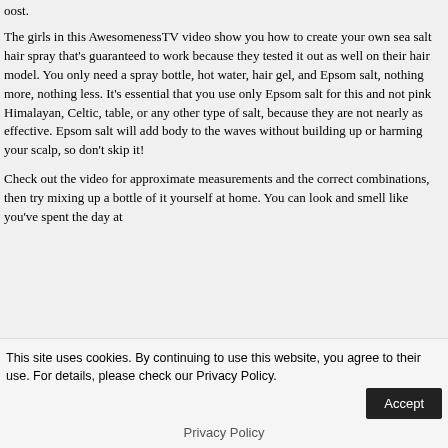oost.
The girls in this AwesomenessTV video show you how to create your own sea salt hair spray that's guaranteed to work because they tested it out as well on their hair model. You only need a spray bottle, hot water, hair gel, and Epsom salt, nothing more, nothing less. It's essential that you use only Epsom salt for this and not pink Himalayan, Celtic, table, or any other type of salt, because they are not nearly as effective. Epsom salt will add body to the waves without building up or harming your scalp, so don't skip it!
Check out the video for approximate measurements and the correct combinations, then try mixing up a bottle of it yourself at home. You can look and smell like you've spent the day at
This site uses cookies. By continuing to use this website, you agree to their use. For details, please check our Privacy Policy.
Privacy Policy